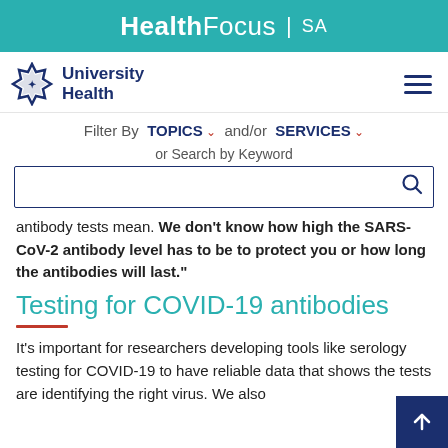HealthFocus | SA
[Figure (logo): University Health logo with geometric star icon and text 'University Health' in navy blue]
Filter By TOPICS and/or SERVICES
or Search by Keyword
antibody tests mean. We don't know how high the SARS-CoV-2 antibody level has to be to protect you or how long the antibodies will last."
Testing for COVID-19 antibodies
It's important for researchers developing tools like serology testing for COVID-19 to have reliable data that shows the tests are identifying the right virus. We also